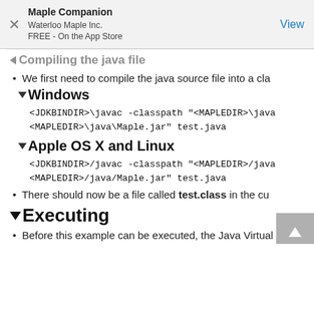Maple Companion
Waterloo Maple Inc.
FREE - On the App Store
Compiling the java file
We first need to compile the java source file into a cla
Windows
<JDKBINDIR>\javac -classpath "<MAPLEDIR>\java\
<MAPLEDIR>\java\Maple.jar" test.java
Apple OS X and Linux
<JDKBINDIR>/javac -classpath "<MAPLEDIR>/java
<MAPLEDIR>/java/Maple.jar" test.java
There should now be a file called test.class in the cu
Executing
Before this example can be executed, the Java Virtual M